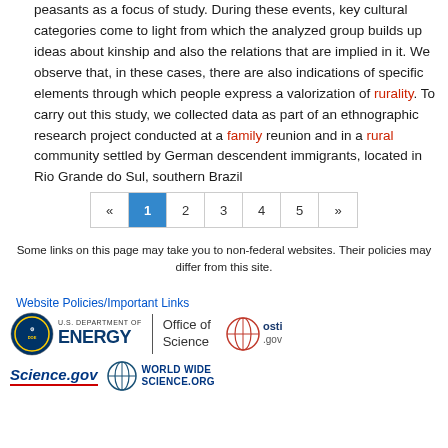peasants as a focus of study. During these events, key cultural categories come to light from which the analyzed group builds up ideas about kinship and also the relations that are implied in it. We observe that, in these cases, there are also indications of specific elements through which people express a valorization of rurality. To carry out this study, we collected data as part of an ethnographic research project conducted at a family reunion and in a rural community settled by German descendent immigrants, located in Rio Grande do Sul, southern Brazil
[Figure (other): Pagination control showing pages: « 1 2 3 4 5 »]
Some links on this page may take you to non-federal websites. Their policies may differ from this site.
Website Policies/Important Links
[Figure (logo): Logos: U.S. Department of Energy / Office of Science, osti.gov, Science.gov, WorldWideScience.org]